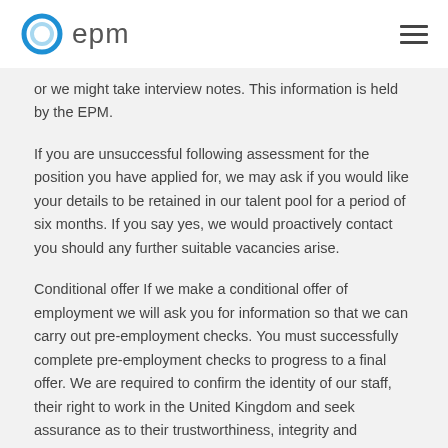epm
or we might take interview notes. This information is held by the EPM.
If you are unsuccessful following assessment for the position you have applied for, we may ask if you would like your details to be retained in our talent pool for a period of six months. If you say yes, we would proactively contact you should any further suitable vacancies arise.
Conditional offer If we make a conditional offer of employment we will ask you for information so that we can carry out pre-employment checks. You must successfully complete pre-employment checks to progress to a final offer. We are required to confirm the identity of our staff, their right to work in the United Kingdom and seek assurance as to their trustworthiness, integrity and